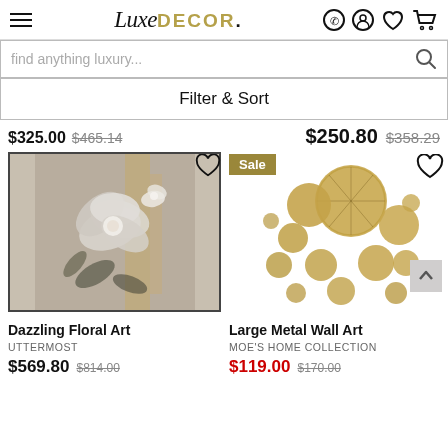LuxeDECOR — navigation header with hamburger menu, logo, phone, account, wishlist, cart icons
find anything luxury...
Filter & Sort
$325.00  $465.14  |  $250.80  $358.29
[Figure (photo): Painting of white and grey flowers (Dazzling Floral Art) in a dark frame]
Dazzling Floral Art
UTTERMOST
$569.80  $814.00
[Figure (photo): Large gold metal wall art with multiple circular disc shapes (Large Metal Wall Art by Moe's Home Collection). Sale badge visible.]
Large Metal Wall Art
MOE'S HOME COLLECTION
$119.00  $170.00